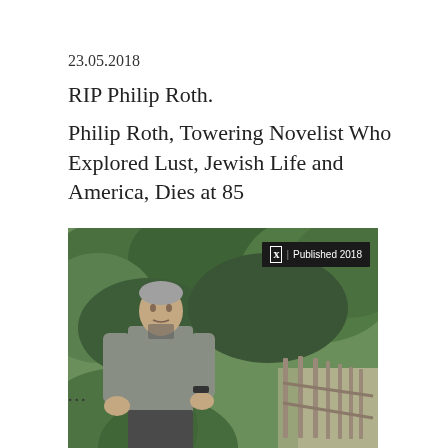23.05.2018
RIP Philip Roth.
Philip Roth, Towering Novelist Who Explored Lust, Jewish Life and America, Dies at 85
[Figure (photo): Photograph of Philip Roth standing outdoors in a wooded area with a wooden fence visible in the background. He is wearing a grey shirt. A badge in the top-right of the image reads 'T | Published 2018'.]
...